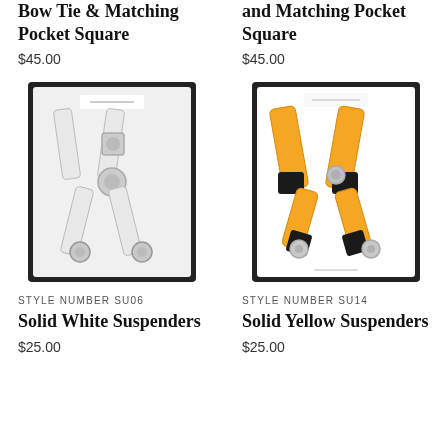Bow Tie & Matching Pocket Square
$45.00
and Matching Pocket Square
$45.00
[Figure (photo): White suspenders in a black gift box, laid out in a Y-shape with metal hardware]
STYLE NUMBER SU06
Solid White Suspenders
$25.00
[Figure (photo): Yellow suspenders in a black gift box, laid out in a Y-shape with black leather connectors and metal hardware]
STYLE NUMBER SU14
Solid Yellow Suspenders
$25.00